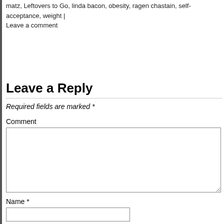matz, Leftovers to Go, linda bacon, obesity, ragen chastain, self-acceptance, weight | Leave a comment
Leave a Reply
Required fields are marked *
Comment
Name *
Email *